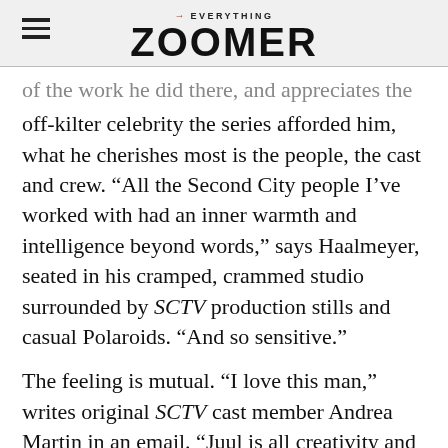EVERYTHING ZOOMER
of the work he did there, and appreciates the off-kilter celebrity the series afforded him, what he cherishes most is the people, the cast and crew. “All the Second City people I’ve worked with had an inner warmth and intelligence beyond words,” says Haalmeyer, seated in his cramped, crammed studio surrounded by SCTV production stills and casual Polaroids. “And so sensitive.”
The feeling is mutual. “I love this man,” writes original SCTV cast member Andrea Martin in an email. “Juul is all creativity and